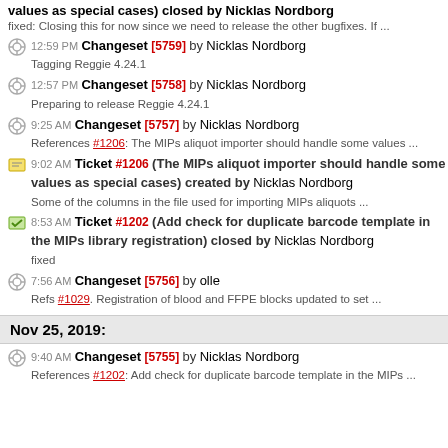values as special cases) closed by Nicklas Nordborg
fixed: Closing this for now since we need to release the other bugfixes. If ...
12:59 PM Changeset [5759] by Nicklas Nordborg
Tagging Reggie 4.24.1
12:57 PM Changeset [5758] by Nicklas Nordborg
Preparing to release Reggie 4.24.1
9:25 AM Changeset [5757] by Nicklas Nordborg
References #1206: The MIPs aliquot importer should handle some values ...
9:02 AM Ticket #1206 (The MIPs aliquot importer should handle some values as special cases) created by Nicklas Nordborg
Some of the columns in the file used for importing MIPs aliquots ...
8:53 AM Ticket #1202 (Add check for duplicate barcode template in the MIPs library registration) closed by Nicklas Nordborg
fixed
7:56 AM Changeset [5756] by olle
Refs #1029. Registration of blood and FFPE blocks updated to set ...
Nov 25, 2019:
9:40 AM Changeset [5755] by Nicklas Nordborg
References #1202: Add check for duplicate barcode template in the MIPs ...